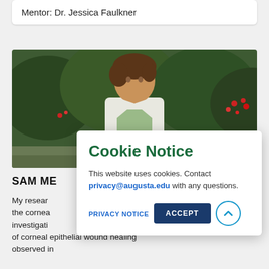Mentor: Dr. Jessica Faulkner
[Figure (photo): Outdoor photo of a young man with brown hair wearing a white coat, with green shrubbery and red flowers in the background.]
SAM ME...
My research... the cornea... investigati... of corneal epithelial wound healing observed in
Cookie Notice
This website uses cookies. Contact privacy@augusta.edu with any questions.
PRIVACY NOTICE
ACCEPT